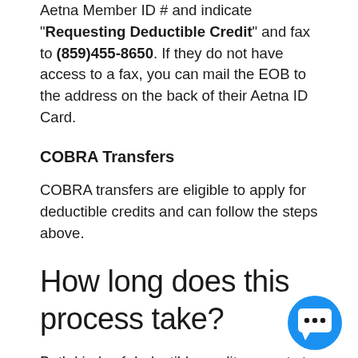Aetna Member ID # and indicate "Requesting Deductible Credit" and fax to (859)455-8650. If they do not have access to a fax, you can mail the EOB to the address on the back of their Aetna ID Card.
COBRA Transfers
COBRA transfers are eligible to apply for deductible credits and can follow the steps above.
How long does this process take?
Both kinds of deductible credit requests t—2 weeks for Aetna to review and process if